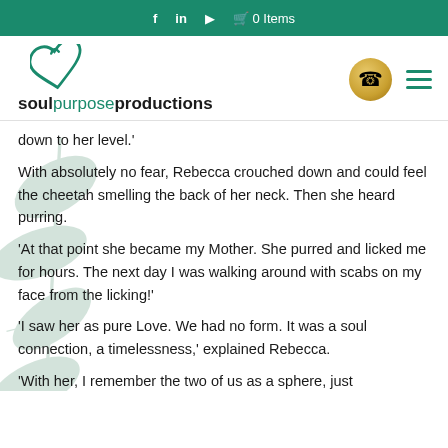f  in  ▶  🛒 0 Items
[Figure (logo): Soul Purpose Productions logo with green heart and text]
down to her level.'
With absolutely no fear, Rebecca crouched down and could feel the cheetah smelling the back of her neck. Then she heard purring.
'At that point she became my Mother. She purred and licked me for hours. The next day I was walking around with scabs on my face from the licking!'
'I saw her as pure Love. We had no form. It was a soul connection, a timelessness,' explained Rebecca.
'With her, I remember the two of us as a sphere, just